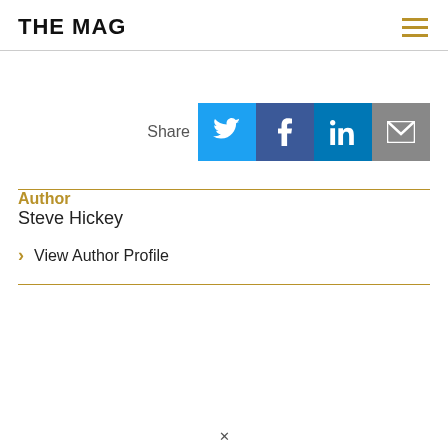THE MAG
[Figure (infographic): Share buttons row with Twitter (blue bird icon), Facebook (dark blue f icon), LinkedIn (blue in icon), and Email (grey envelope icon)]
Author
Steve Hickey
> View Author Profile